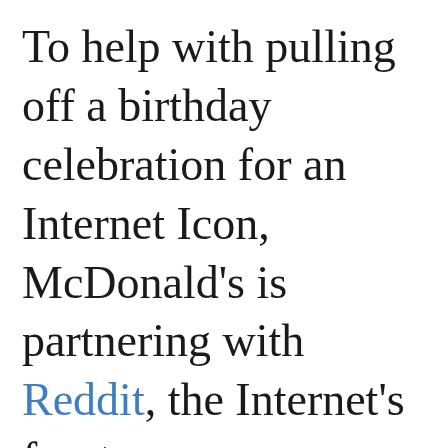To help with pulling off a birthday celebration for an Internet Icon, McDonald's is partnering with Reddit, the Internet's front page.